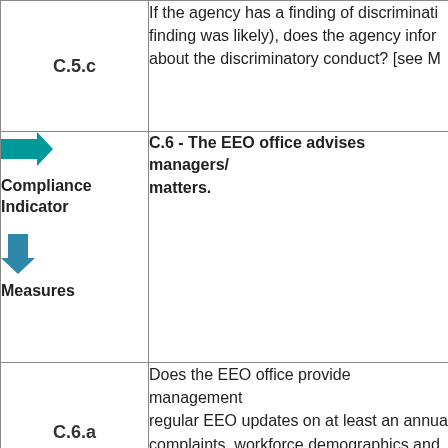| C.5.c | If the agency has a finding of discriminati finding was likely), does the agency infor about the discriminatory conduct? [see M |
| Compliance Indicator / Measures | C.6 - The EEO office advises managers/ matters. |
| C.6.a | Does the EEO office provide management regular EEO updates on at least an annua complaints, workforce demographics and updates, barrier analysis plans, and spec MD-715 Instructions, Part I] follow... |